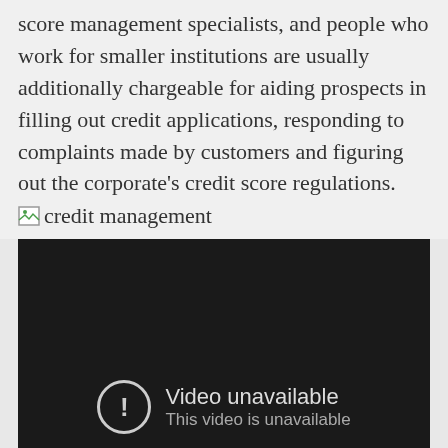score management specialists, and people who work for smaller institutions are usually additionally chargeable for aiding prospects in filling out credit applications, responding to complaints made by customers and figuring out the corporate's credit score regulations.
[Figure (photo): Broken image placeholder with alt text 'credit management']
[Figure (screenshot): Embedded video player showing 'Video unavailable' error with exclamation icon and text 'This video is unavailable']